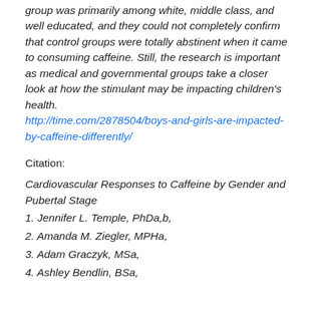group was primarily among white, middle class, and well educated, and they could not completely confirm that control groups were totally abstinent when it came to consuming caffeine. Still, the research is important as medical and governmental groups take a closer look at how the stimulant may be impacting children's health.
http://time.com/2878504/boys-and-girls-are-impacted-by-caffeine-differently/
Citation:
Cardiovascular Responses to Caffeine by Gender and Pubertal Stage
1. Jennifer L. Temple, PhDa,b,
2. Amanda M. Ziegler, MPHa,
3. Adam Graczyk, MSa,
4. Ashley Bendlin, BSa,